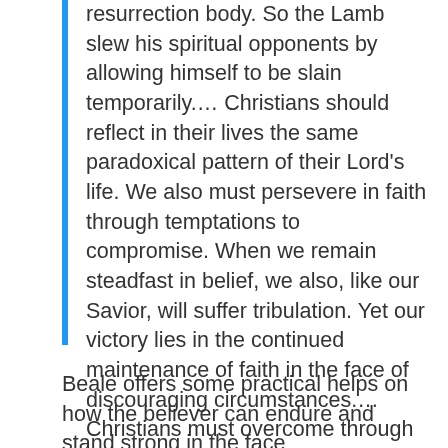resurrection body. So the Lamb slew his spiritual opponents by allowing himself to be slain temporarily.… Christians should reflect in their lives the same paradoxical pattern of their Lord's life. We also must persevere in faith through temptations to compromise. When we remain steadfast in belief, we also, like our Savior, will suffer tribulation. Yet our victory lies in the continued maintenance of faith in the face of discouraging circumstances.… Christians must overcome through faith while suffering, as Jesus did.
Beale offers some practical helps on how the believer can endure and stand strong in the face